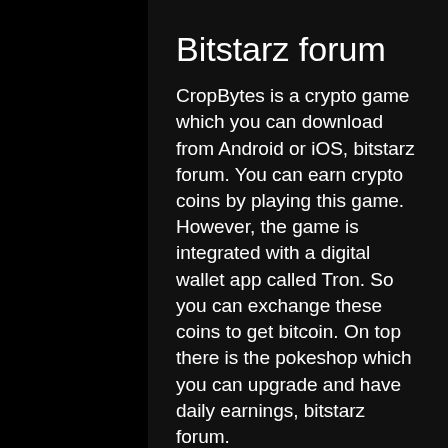Bitstarz forum
CropBytes is a crypto game which you can download from Android or iOS, bitstarz forum. You can earn crypto coins by playing this game. However, the game is integrated with a digital wallet app called Tron. So you can exchange these coins to get bitcoin. On top there is the pokeshop which you can upgrade and have daily earnings, bitstarz forum.
Check these free blockchain games and start playing to earn free cryptocurrency. Additionally, check out other methods to get free cryptocurrency, bitstarz forum. A game is a structured form of play , usually undertaken for enjoyment and sometimes used as an educational tool. Games are